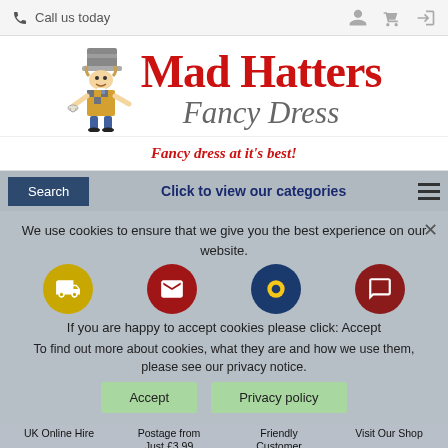Call us today
[Figure (logo): Mad Hatters Fancy Dress logo with illustrated Mad Hatter character in colourful outfit holding teacup, large red scripted 'Mad Hatters' text and grey italic 'Fancy Dress' text]
Fancy dress at it's best!
Search | Click to view our categories
We use cookies to ensure that we give you the best experience on our website.
If you are happy to accept cookies please click: Accept
To find out more about cookies, what they are and how we use them, please see our privacy notice.
Accept | Privacy policy
UK Online Hire
Postage from Just £3.99
Friendly Customer Service
Visit Our Shop
Superheroes Female